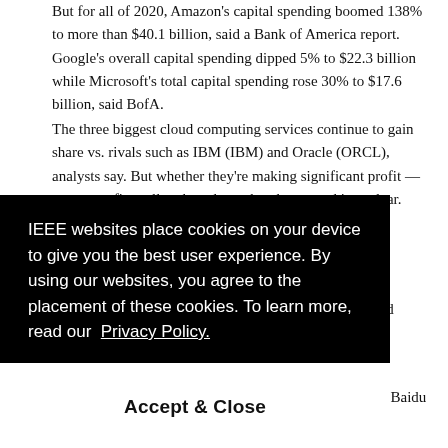But for all of 2020, Amazon's capital spending boomed 138% to more than $40.1 billion, said a Bank of America report. Google's overall capital spending dipped 5% to $22.3 billion while Microsoft's total capital spending rose 30% to $17.6 billion, said BofA.
The three biggest cloud computing services continue to gain share vs. rivals such as IBM (IBM) and Oracle (ORCL), analysts say. But whether they're making significant profit — or any profit at all — based on what they spend is unclear.
[Figure (screenshot): Cookie consent overlay on black background. Text reads: 'IEEE websites place cookies on your device to give you the best user experience. By using our websites, you agree to the placement of these cookies. To learn more, read our Privacy Policy.' with an 'Accept & Close' button.]
...g titans that includes China's Alibaba Group (BABA), Baidu (BIDU) and Tencent Holdings (TCEHY)...